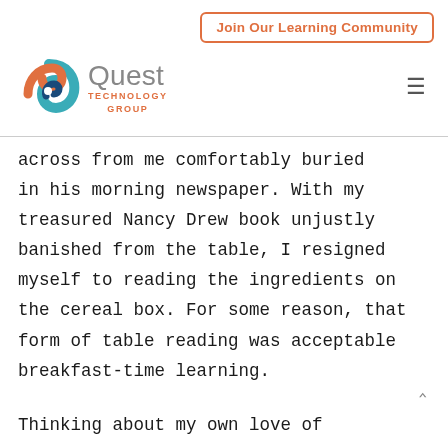Join Our Learning Community
[Figure (logo): Quest Technology Group logo with colorful spiral and grey/orange text]
across from me comfortably buried in his morning newspaper. With my treasured Nancy Drew book unjustly banished from the table, I resigned myself to reading the ingredients on the cereal box. For some reason, that form of table reading was acceptable breakfast-time learning.
Thinking about my own love of